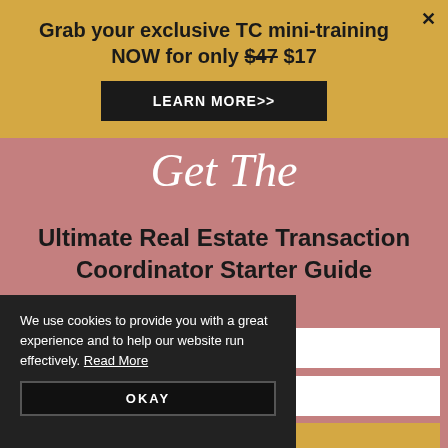Grab your exclusive TC mini-training NOW for only $47 $17
LEARN MORE>>
Get The
Ultimate Real Estate Transaction Coordinator Starter Guide
We use cookies to provide you with a great experience and to help our website run effectively. Read More
OKAY